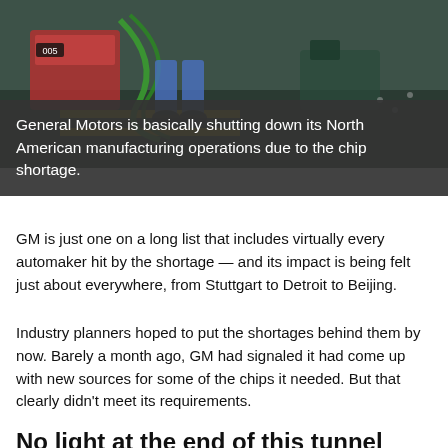[Figure (photo): Factory floor scene showing a worker operating machinery, with yellow warning stripes on the floor and industrial equipment visible.]
General Motors is basically shutting down its North American manufacturing operations due to the chip shortage.
GM is just one on a long list that includes virtually every automaker hit by the shortage — and its impact is being felt just about everywhere, from Stuttgart to Detroit to Beijing.
Industry planners hoped to put the shortages behind them by now. Barely a month ago, GM had signaled it had come up with new sources for some of the chips it needed. But that clearly didn't meet its requirements.
No light at the end of this tunnel
The automaker will either close or extend closures at